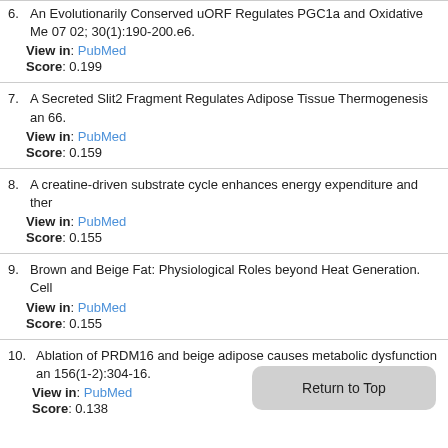6. An Evolutionarily Conserved uORF Regulates PGC1a and Oxidative Me... 07 02; 30(1):190-200.e6.
View in: PubMed
Score: 0.199
7. A Secreted Slit2 Fragment Regulates Adipose Tissue Thermogenesis an... 66.
View in: PubMed
Score: 0.159
8. A creatine-driven substrate cycle enhances energy expenditure and ther...
View in: PubMed
Score: 0.155
9. Brown and Beige Fat: Physiological Roles beyond Heat Generation. Cell...
View in: PubMed
Score: 0.155
10. Ablation of PRDM16 and beige adipose causes metabolic dysfunction an... 156(1-2):304-16.
View in: PubMed
Score: 0.138